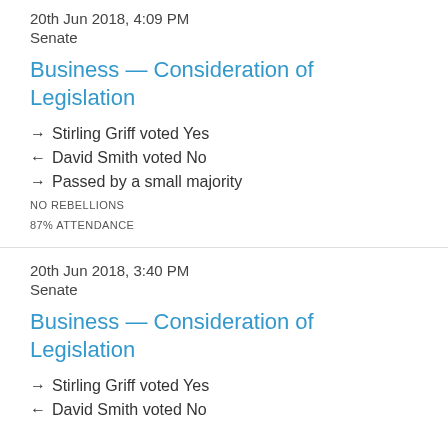20th Jun 2018, 4:09 PM
Senate
Business — Consideration of Legislation
→ Stirling Griff voted Yes
← David Smith voted No
→ Passed by a small majority
NO REBELLIONS
87% ATTENDANCE
20th Jun 2018, 3:40 PM
Senate
Business — Consideration of Legislation
→ Stirling Griff voted Yes
← David Smith voted No